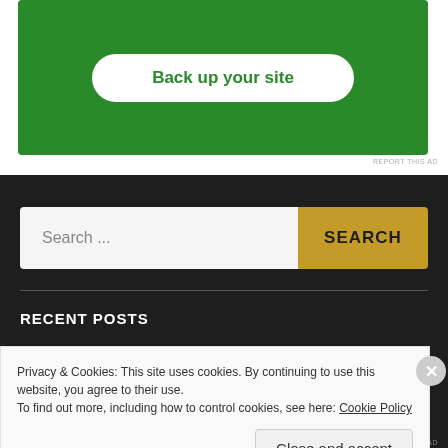[Figure (screenshot): Green advertisement banner with white button labeled 'Back up your site']
REPORT THIS AD
Search ...
SEARCH
RECENT POSTS
Privacy & Cookies: This site uses cookies. By continuing to use this website, you agree to their use.
To find out more, including how to control cookies, see here: Cookie Policy
Close and accept
REPORT THIS AD